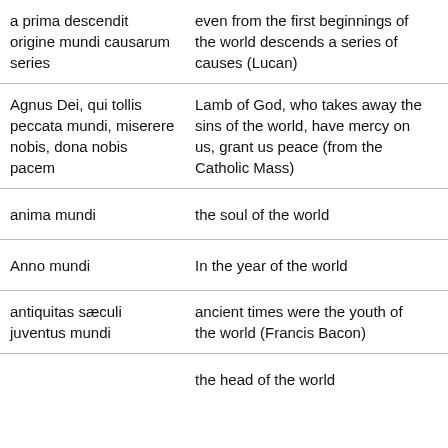| Latin | English |  |
| --- | --- | --- |
| a prima descendit origine mundi causarum series | even from the first beginnings of the world descends a series of causes (Lucan) | ☐ |
| Agnus Dei, qui tollis peccata mundi, miserere nobis, dona nobis pacem | Lamb of God, who takes away the sins of the world, have mercy on us, grant us peace (from the Catholic Mass) | ☐ |
| anima mundi | the soul of the world | ☐ |
| Anno mundi | In the year of the world | ☐ |
| antiquitas sæculi juventus mundi | ancient times were the youth of the world (Francis Bacon) | ☐ |
|  | the head of the world | ☐ |